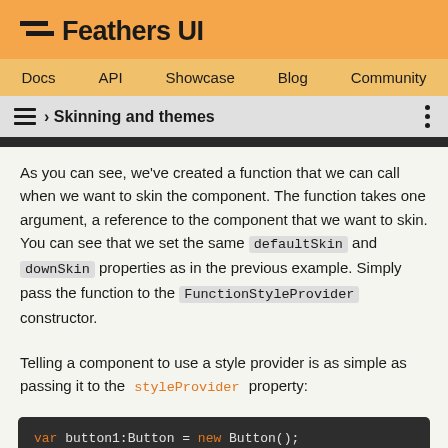Feathers UI
Docs  API  Showcase  Blog  Community
› Skinning and themes
As you can see, we've created a function that we can call when we want to skin the component. The function takes one argument, a reference to the component that we want to skin. You can see that we set the same defaultSkin and downSkin properties as in the previous example. Simply pass the function to the FunctionStyleProvider constructor.
Telling a component to use a style provider is as simple as passing it to the styleProvider property:
[Figure (screenshot): Code block showing: var button1:Button = new Button();]